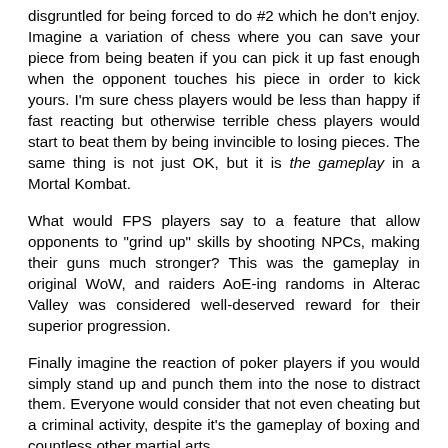disgruntled for being forced to do #2 which he don't enjoy. Imagine a variation of chess where you can save your piece from being beaten if you can pick it up fast enough when the opponent touches his piece in order to kick yours. I'm sure chess players would be less than happy if fast reacting but otherwise terrible chess players would start to beat them by being invincible to losing pieces. The same thing is not just OK, but it is the gameplay in a Mortal Kombat.
What would FPS players say to a feature that allow opponents to "grind up" skills by shooting NPCs, making their guns much stronger? This was the gameplay in original WoW, and raiders AoE-ing randoms in Alterac Valley was considered well-deserved reward for their superior progression.
Finally imagine the reaction of poker players if you would simply stand up and punch them into the nose to distract them. Everyone would consider that not even cheating but a criminal activity, despite it's the gameplay of boxing and countless other martial arts.